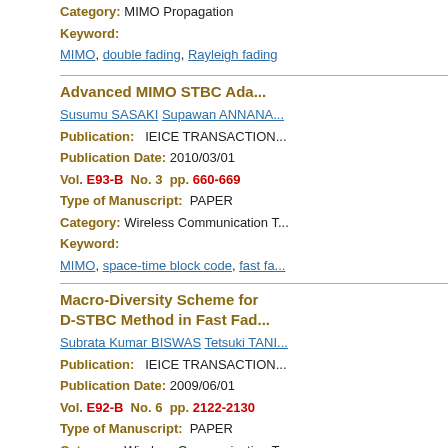Category: MIMO Propagation
Keyword:
MIMO, double fading, Rayleigh fading
Advanced MIMO STBC Ada...
Susumu SASAKI Supawan ANNANA...
Publication: IEICE TRANSACTION...
Publication Date: 2010/03/01
Vol. E93-B No. 3 pp. 660-669
Type of Manuscript: PAPER
Category: Wireless Communication T...
Keyword:
MIMO, space-time block code, fast fa...
Macro-Diversity Scheme for D-STBC Method in Fast Fad...
Subrata Kumar BISWAS Tetsuki TANI...
Publication: IEICE TRANSACTION...
Publication Date: 2009/06/01
Vol. E92-B No. 6 pp. 2122-2130
Type of Manuscript: PAPER
Category: Wireless Communication T...